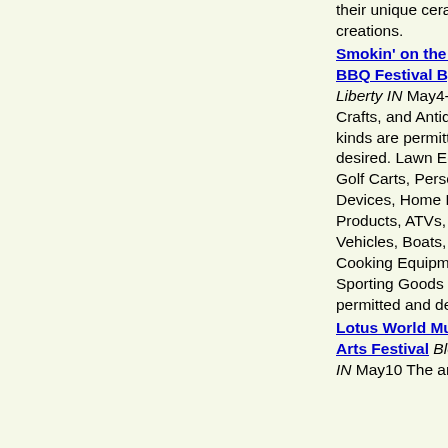their unique ceramic creations.
Smokin' on the Water - BBQ Festival By The Lake Liberty IN May4-5 Arts, Crafts, and Antiques of all kinds are permitted and desired. Lawn Equipment, Golf Carts, Personal Mobility Devices, Home Healthcare Products, ATVs, RVs, Vehicles, Boats, Outdoor Cooking Equipment, and Sporting Goods are also permitted and desired.
Lotus World Music and Arts Festival Bloomington IN May10 The annual Lotus...